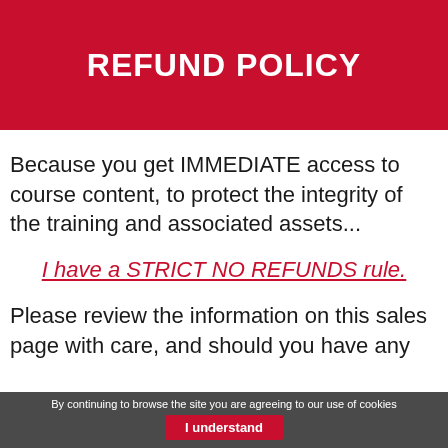REFUND POLICY
Because you get IMMEDIATE access to course content, to protect the integrity of the training and associated assets...
I have a STRICT NO REFUNDS rule.
Please review the information on this sales page with care, and should you have any
By continuing to browse the site you are agreeing to our use of cookies  I understand